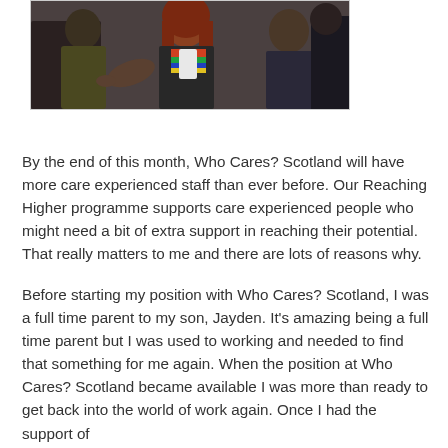[Figure (photo): Photo of people in conversation, a young woman with red/auburn hair wearing a colourful striped scarf appears to be speaking with others in a group setting.]
By the end of this month, Who Cares? Scotland will have more care experienced staff than ever before. Our Reaching Higher programme supports care experienced people who might need a bit of extra support in reaching their potential. That really matters to me and there are lots of reasons why.
Before starting my position with Who Cares? Scotland, I was a full time parent to my son, Jayden. It's amazing being a full time parent but I was used to working and needed to find that something for me again. When the position at Who Cares? Scotland became available I was more than ready to get back into the world of work again. Once I had the support of